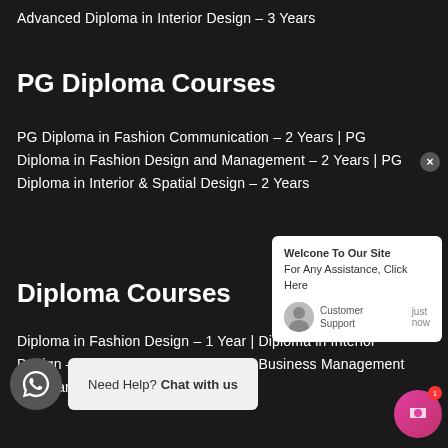Advanced Diploma in Interior Design – 3 Years
PG Diploma Courses
PG Diploma in Fashion Communication – 2 Years | PG Diploma in Fashion Design and Management – 2 Years | PG Diploma in Interior & Spatial Design – 2 Years
Diploma Courses
Diploma in Fashion Design – 1 Year | Diploma in Interior Design – 1 Year | Diploma in Fashion Business Management – 1 Year | Diploma in Jewellery Design (CAD) – 6 Months | Diploma in Visual Merchandising – 6 Months | Diploma in Fashion